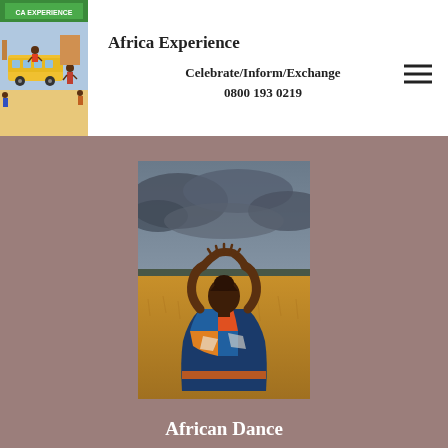[Figure (illustration): Africa Experience logo — colorful painted scene with market, bus, and people]
Africa Experience
Celebrate/Inform/Exchange
0800 193 0219
[Figure (photo): Person in colorful African patterned dress viewed from behind, arms raised above head, standing in a golden field of grass with dramatic cloudy sky in background]
African Dance